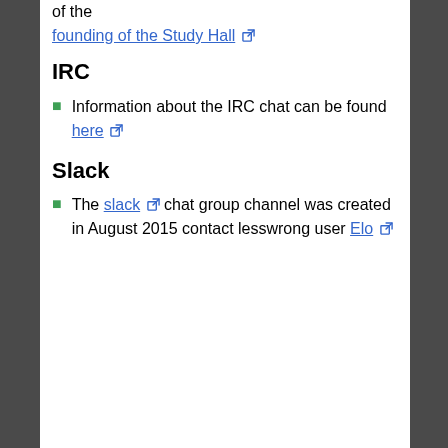of the founding of the Study Hall
IRC
Information about the IRC chat can be found here
Slack
The slack chat group channel was created in August 2015 contact lesswrong user Elo